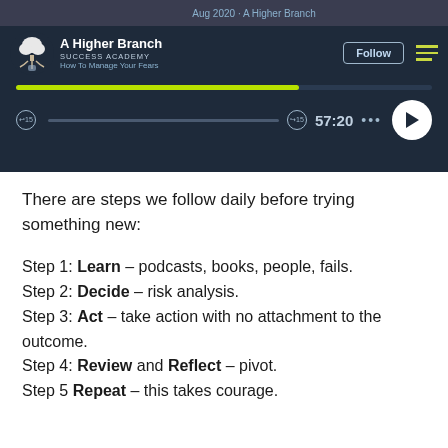[Figure (screenshot): Podcast player screenshot showing 'A Higher Branch Success Academy' with episode 'How To Manage Your Fears', Aug 2020, with progress bar, playback controls, time 57:20, and play button.]
There are steps we follow daily before trying something new:
Step 1: Learn – podcasts, books, people, fails.
Step 2: Decide – risk analysis.
Step 3: Act – take action with no attachment to the outcome.
Step 4: Review and Reflect – pivot.
Step 5 Repeat – this takes courage.